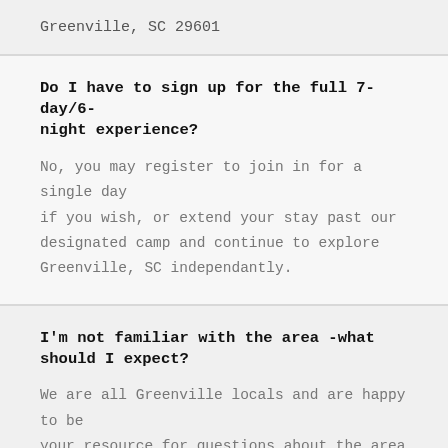Greenville, SC 29601
Do I have to sign up for the full 7-day/6-night experience?
No, you may register to join in for a single day if you wish, or extend your stay past our designated camp and continue to explore Greenville, SC independantly.
I'm not familiar with the area -what should I expect?
We are all Greenville locals and are happy to be your resource for questions about the area and the cycling community -just ask!